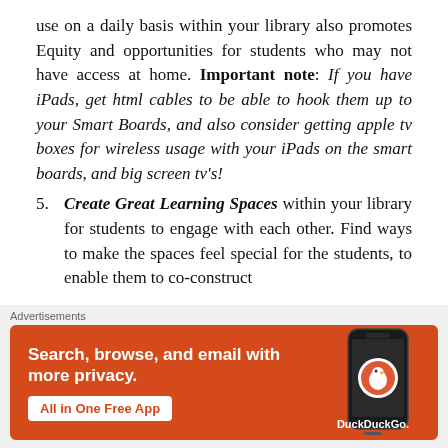use on a daily basis within your library also promotes Equity and opportunities for students who may not have access at home. Important note: If you have iPads, get html cables to be able to hook them up to your Smart Boards, and also consider getting apple tv boxes for wireless usage with your iPads on the smart boards, and big screen tv's!
5. Create Great Learning Spaces within your library for students to engage with each other. Find ways to make the spaces feel special for the students, to enable them to co-construct
[Figure (other): DuckDuckGo advertisement banner with orange background. Text: 'Search, browse, and email with more privacy. All in One Free App' with DuckDuckGo logo and phone graphic.]